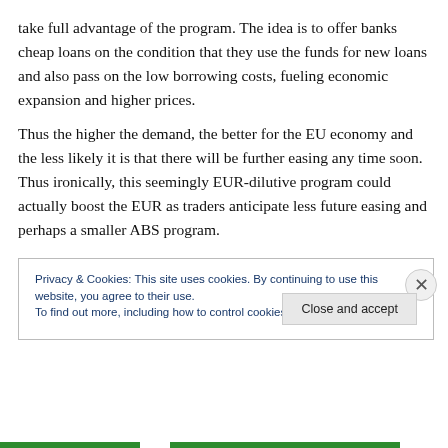take full advantage of the program. The idea is to offer banks cheap loans on the condition that they use the funds for new loans and also pass on the low borrowing costs, fueling economic expansion and higher prices.
Thus the higher the demand, the better for the EU economy and the less likely it is that there will be further easing any time soon. Thus ironically, this seemingly EUR-dilutive program could actually boost the EUR as traders anticipate less future easing and perhaps a smaller ABS program.
Privacy & Cookies: This site uses cookies. By continuing to use this website, you agree to their use.
To find out more, including how to control cookies, see here: Cookie Policy